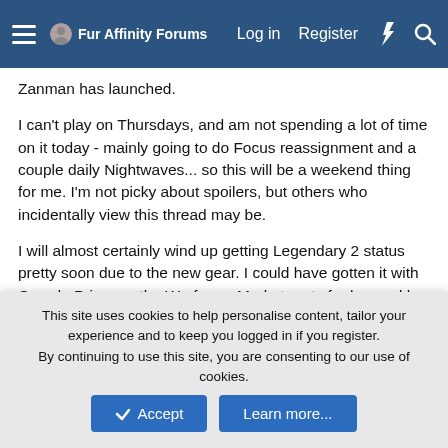Fur Affinity Forums — Log in   Register
Zanman has launched.
I can't play on Thursdays, and am not spending a lot of time on it today - mainly going to do Focus reassignment and a couple daily Nightwaves... so this will be a weekend thing for me. I'm not picky about spoilers, but others who incidentally view this thread may be.
I will almost certainly wind up getting Legendary 2 status pretty soon due to the new gear. I could have gotten it with Garuda Prime as the Warframe Market parts for her and her weapons are worryingly cheap Platinum-wise... but I chose not to rush it. Some time in the next month I'll be picking that stuff up.
Attaman
This site uses cookies to help personalise content, tailor your experience and to keep you logged in if you register.
By continuing to use this site, you are consenting to our use of cookies.
Accept   Learn more...